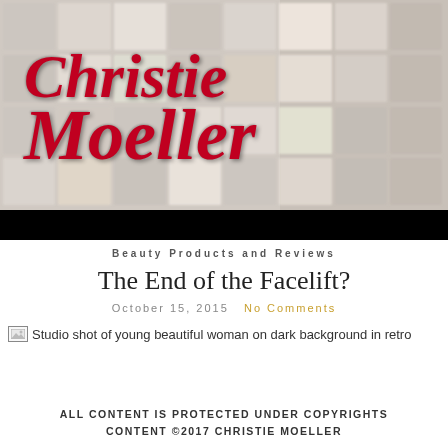[Figure (photo): Header banner with blurred grid of polaroid-style photos as background, overlaid with Christie Moeller script logo in red]
Beauty Products and Reviews
The End of the Facelift?
October 15, 2015   No Comments
[Figure (photo): Studio shot of young beautiful woman on dark background in retro style (broken/missing image placeholder shown)]
ALL CONTENT IS PROTECTED UNDER COPYRIGHTS CONTENT ©2017 CHRISTIE MOELLER